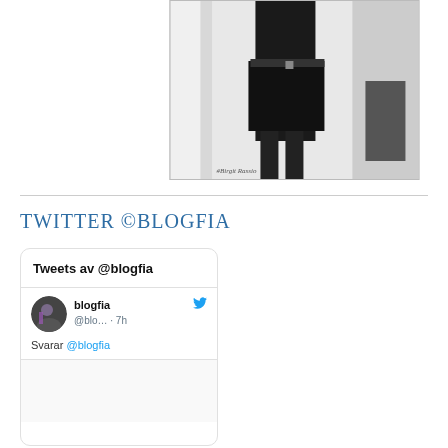[Figure (photo): Black and white photograph of a person in a black outfit and skirt standing near a mirror, with watermark text at bottom left]
TWITTER ©BLOGFIA
[Figure (screenshot): Twitter widget showing 'Tweets av @blogfia' with a tweet from user 'blogfia' (@blo... · 7h) saying 'Svarar @blogfia', with a profile avatar and Twitter bird icon]